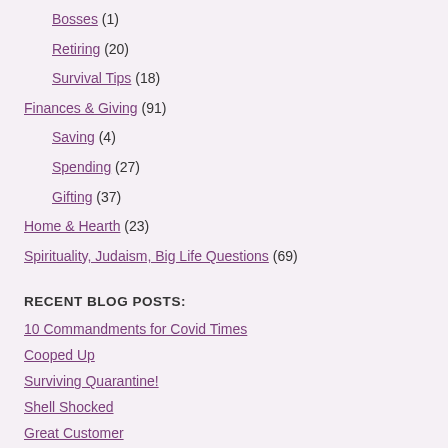Bosses (1)
Retiring (20)
Survival Tips (18)
Finances & Giving (91)
Saving (4)
Spending (27)
Gifting (37)
Home & Hearth (23)
Spirituality, Judaism, Big Life Questions (69)
RECENT BLOG POSTS:
10 Commandments for Covid Times
Cooped Up
Surviving Quarantine!
Shell Shocked
Great Customer